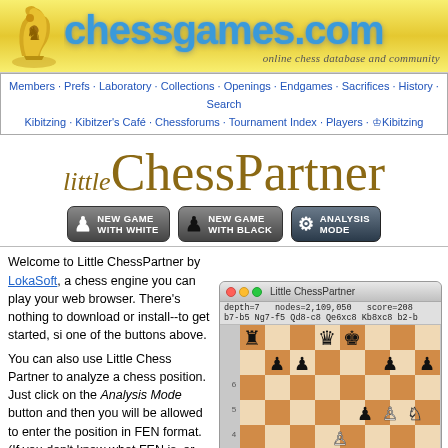[Figure (screenshot): chessgames.com logo header with golden chess knight icon and blue gradient site title]
Members · Prefs · Laboratory · Collections · Openings · Endgames · Sacrifices · History · Search
Kibitzing · Kibitzer's Café · Chessforums · Tournament Index · Players · ♔Kibitzing
[Figure (logo): little ChessPartner logo text in serif brown font]
[Figure (screenshot): Three buttons: NEW GAME WITH WHITE, NEW GAME WITH BLACK, ANALYSIS MODE]
Welcome to Little ChessPartner by LokaSoft, a chess engine you can play your web browser. There's nothing to download or install--to get started, si one of the buttons above.
You can also use Little Chess Partner to analyze a chess position. Just click on the Analysis Mode button and then you will be allowed to enter the position in FEN format. (If you don't know what FEN is, or just need a refresher, please review our handy tutorial FEN Made Easy.) The software will try to play the best move in the
[Figure (screenshot): Little ChessPartner application window showing a chess board position with engine analysis: depth=7, nodes=2,109,050, score=208, move line: b7-b5 Ng7-f5 Qd8-c8 Qe6xc8 Kb8xc8 b2-b]